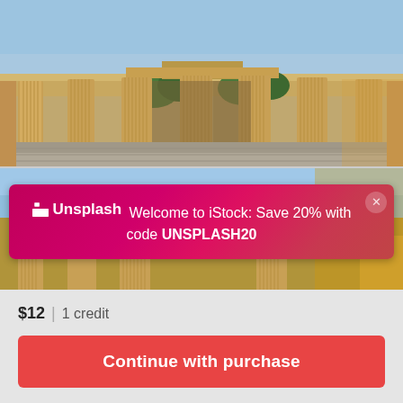[Figure (photo): Brandenburg Gate viewed from the front, showing tall classical columns with blue sky background. Wide-angle view of the neoclassical monument in Berlin.]
[Figure (photo): Second photo of Brandenburg Gate partially visible behind a promotional banner overlay. Shows columns and sky.]
Unsplash Welcome to iStock: Save 20% with code UNSPLASH20
$12 | 1 credit
Continue with purchase